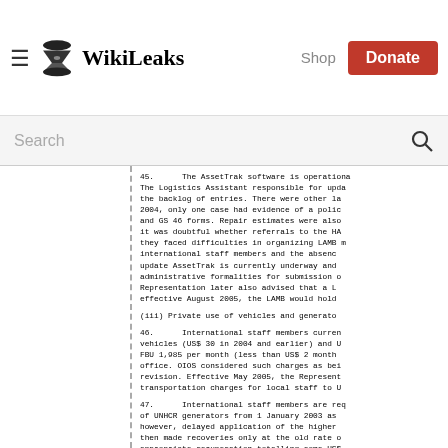WikiLeaks — Shop — Donate
Search
45. The AssetTrak software is operationally... The Logistics Assistant responsible for updating the backlog of entries. There were other lapses. In 2004, only one case had evidence of a police report and GS 46 forms. Repair estimates were also missing and it was doubtful whether referrals to the LAMB... they faced difficulties in organizing LAMB meetings, international staff members and the absence... update AssetTrak is currently underway and the administrative formalities for submission of... Representation later also advised that a LAMB... effective August 2005, the LAMB would hold a...
(iii) Private use of vehicles and generators
46. International staff members currently... vehicles (US$ 30 in 2004 and earlier) and UNHCR FBU 1,985 per month (less than US$ 2 monthly)... office. OIOS considered such charges as being in need of revision. Effective May 2005, the Representation... transportation charges for local staff to US$...
47. International staff members are required... of UNHCR generators from 1 January 2003 as per... however, delayed application of the higher rate... then made recoveries only at the old rate of... appropriate recuperation totalling some US$... make up for the amounts short recovered. The... Officer was not aware of the revision of rates... retroactive recovery. OIOS wishes to point out... disseminated to field offices. Lack of awareness...